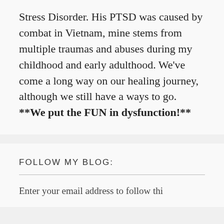Stress Disorder. His PTSD was caused by combat in Vietnam, mine stems from multiple traumas and abuses during my childhood and early adulthood. We’ve come a long way on our healing journey, although we still have a ways to go. **We put the FUN in dysfunction!**
FOLLOW MY BLOG:
Enter your email address to follow this